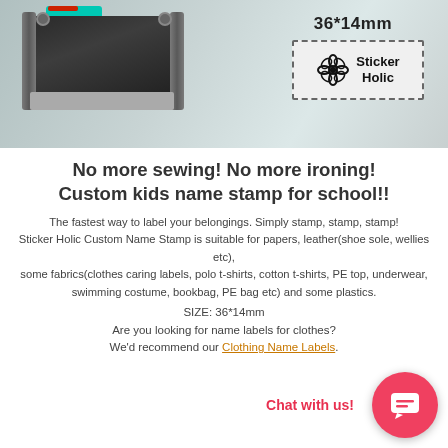[Figure (photo): Product photo of a custom self-inking name stamp device in black/grey with teal accent, shown at an angle. To the right is size label '36*14mm' and a preview of the stamp impression in a dashed rectangle showing a flower icon and 'Sticker Holic' text.]
No more sewing! No more ironing! Custom kids name stamp for school!!
The fastest way to label your belongings. Simply stamp, stamp, stamp! Sticker Holic Custom Name Stamp is suitable for papers, leather(shoe sole, wellies etc), some fabrics(clothes caring labels, polo t-shirts, cotton t-shirts, PE top, underwear, swimming costume, bookbag, PE bag etc) and some plastics.
SIZE: 36*14mm
Are you looking for name labels for clothes? We'd recommend our Clothing Name Labels.